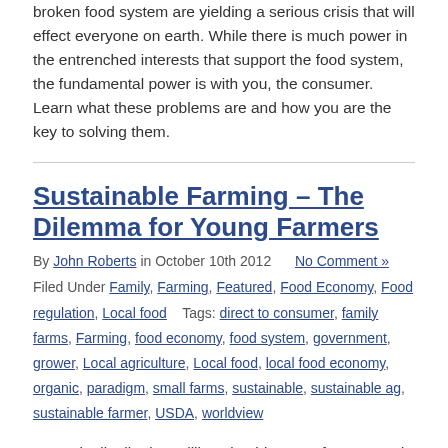broken food system are yielding a serious crisis that will effect everyone on earth. While there is much power in the entrenched interests that support the food system, the fundamental power is with you, the consumer. Learn what these problems are and how you are the key to solving them.
Sustainable Farming – The Dilemma for Young Farmers
By John Roberts in October 10th 2012  No Comment »
Filed Under: Family, Farming, Featured, Food Economy, Food regulation, Local food   Tags: direct to consumer, family farms, Farming, food economy, food system, government, grower, Local agriculture, Local food, local food economy, organic, paradigm, small farms, sustainable, sustainable ag, sustainable farmer, USDA, worldview
USDA is distributing millions in aid to new farmers and ranchers, designed to entice a young workforce to enter the farming occupation, specifically to establish themselves within the developing sustainable